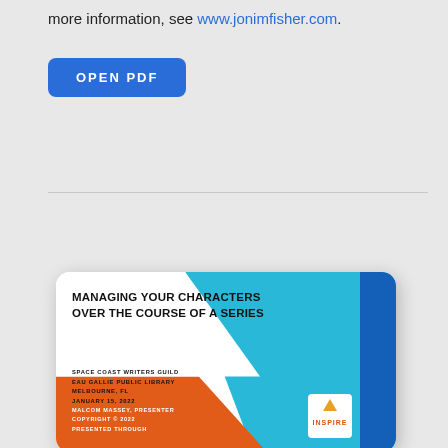more information, see www.jonimfisher.com.
[Figure (other): Blue rounded rectangle button labeled OPEN PDF]
[Figure (illustration): Presentation slide cover card: 'MANAGING YOUR CHARACTERS OVER THE COURSE OF A SERIES' with orange, cyan, and white geometric design. Space Coast Writers Guild, Eau Gallie Public Library, Melbourne, FL, January 15, 2022. Malcom Massey, Presenter. Copyright © 2022. Presented Through. Inspire logo.]